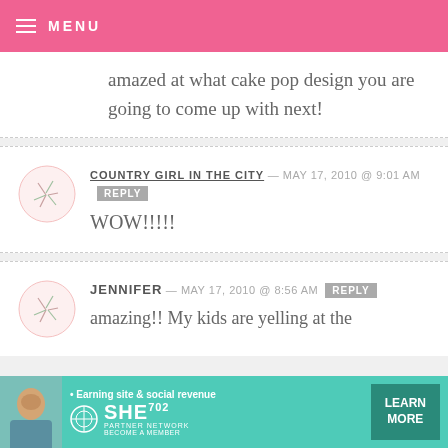MENU
amazed at what cake pop design you are going to come up with next!
COUNTRY GIRL IN THE CITY — MAY 17, 2010 @ 9:01 AM  REPLY
WOW!!!!!
JENNIFER — MAY 17, 2010 @ 8:56 AM  REPLY
amazing!! My kids are yelling at the
[Figure (infographic): SHE Partner Network advertisement banner with teal background, woman photo, bullet point 'Earning site & social revenue', SHE logo, and LEARN MORE button]